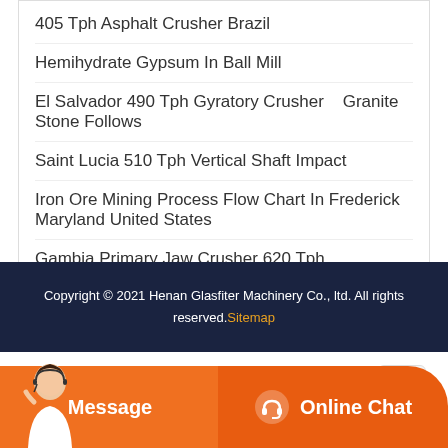405 Tph Asphalt Crusher Brazil
Hemihydrate Gypsum In Ball Mill
El Salvador 490 Tph Gyratory Crusher   Granite Stone Follows
Saint Lucia 510 Tph Vertical Shaft Impact
Iron Ore Mining Process Flow Chart In Frederick Maryland United States
Gambia Primary Jaw Crusher 620 Tph
Tertiary Crushing 720 Tph Finland
Copyright © 2021 Henan Glasfiter Machinery Co., ltd. All rights reserved.Sitemap